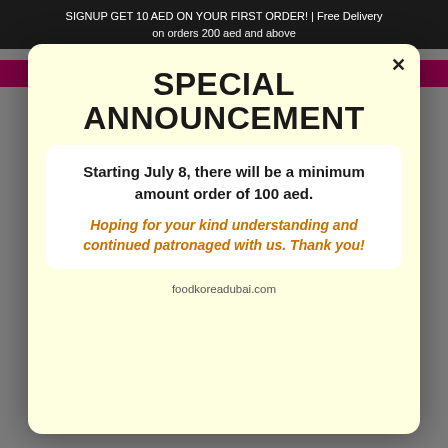SIGNUP GET 10 AED ON YOUR FIRST ORDER! | Free Delivery on orders 200 aed and above
🔒click here for K-BEAUTY : BEAUTY KOREA🔒
SPECIAL ANNOUNCEMENT
Starting July 8, there will be a minimum amount order of 100 aed.
Hoping for your kind understanding and continued patronaged with us. Thank you!
foodkoreadubai.com
BEST SELLERS